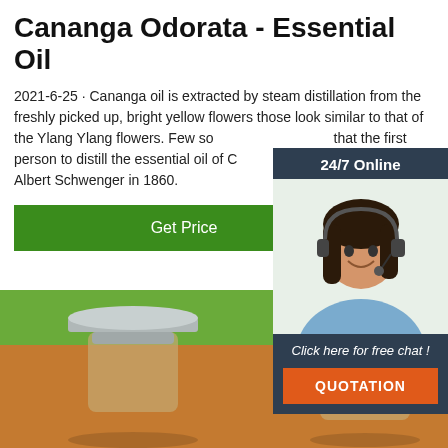Cananga Odorata - Essential Oil
2021-6-25 · Cananga oil is extracted by steam distillation from the freshly picked up, bright yellow flowers those look similar to that of the Ylang Ylang flowers. Few sources said that the first person to distill the essential oil of Cananga Odorata was Albert Schwenger in 1860.
Get Price
[Figure (photo): 24/7 online chat widget with a customer service representative (woman with headset) and a QUOTATION button]
[Figure (photo): Two small glass essential oil bottles with silver caps on a wooden surface with green background]